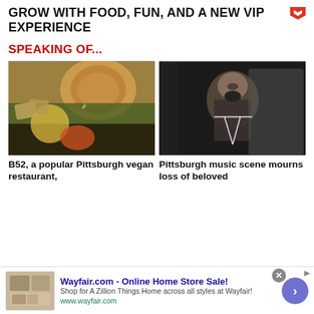GROW WITH FOOD, FUN, AND A NEW VIP EXPERIENCE
SPEAKING OF...
[Figure (photo): Overhead photo of a vegan food bowl with scrambled tofu, kale, lentils, toast, a sauce cup, and a potato hash]
[Figure (photo): Black and white photo of a woman smiling at a dark venue, wearing a graphic cape/shirt]
B52, a popular Pittsburgh vegan restaurant,
Pittsburgh music scene mourns loss of beloved
Wayfair.com - Online Home Store Sale! Shop for A Zillion Things Home across all styles at Wayfair! www.wayfair.com